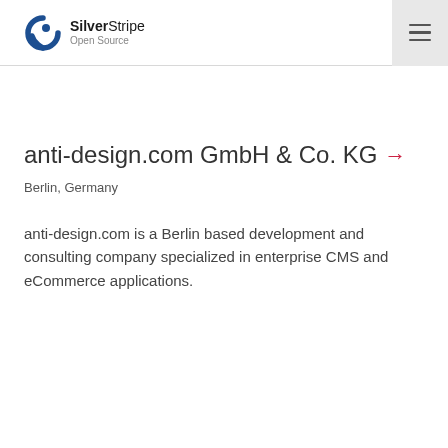SilverStripe Open Source
anti-design.com GmbH & Co. KG →
Berlin, Germany
anti-design.com is a Berlin based development and consulting company specialized in enterprise CMS and eCommerce applications.